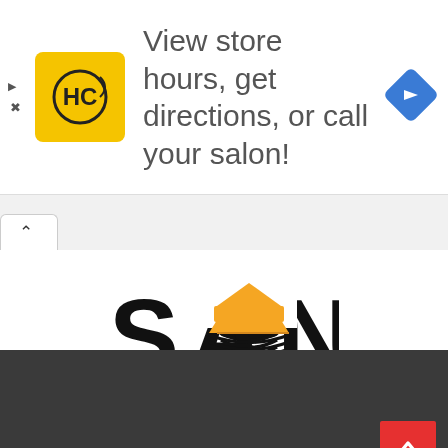[Figure (screenshot): Advertisement banner with HC salon logo (yellow square with HC text), text reading 'View store hours, get directions, or call your salon!', and a blue diamond navigation icon. Small play and X controls on the left.]
[Figure (logo): Studyabroadnations.com logo showing 'SAN' in large letters with an open book and graduation cap motif, with URL 'Studyabroadnations.com' below.]
[Figure (screenshot): Dark gray footer section with a red scroll-to-top button (chevron up icon) at bottom right, and a light beige strip at the very bottom.]